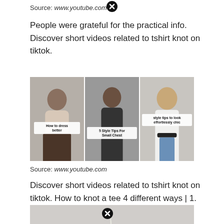Source: www.youtube.com
People were grateful for the practical info. Discover short videos related to tshirt knot on tiktok.
[Figure (screenshot): Three TikTok video thumbnails side by side: left shows a woman in a beige top with overlay text 'How to dress better', center shows a woman in a black dress with overlay text '5 Style Tips For Small Chest', right shows a woman in a white shirt and jeans with overlay text 'style tips to look effortlessly chic'.]
Source: www.youtube.com
Discover short videos related to tshirt knot on tiktok. How to knot a tee 4 different ways | 1.
[Figure (screenshot): Partial view of a video thumbnail with a close/dismiss button overlay.]